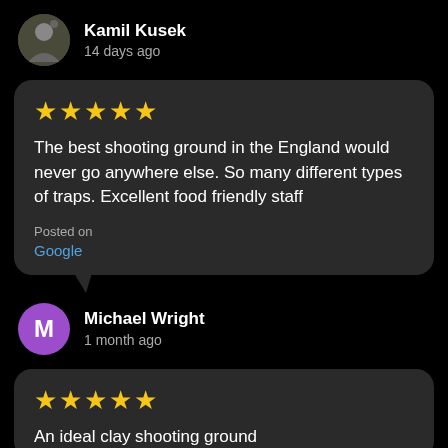Kamil Kusek
14 days ago
★★★★★
The best shooting ground in the England would never go anywhere else. So many different types of traps. Excellent food friendly staff
Posted on
Google
Michael Wright
1 month ago
★★★★★
An ideal clay shooting ground